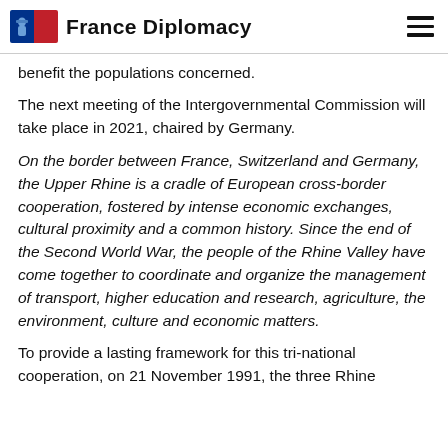France Diplomacy
benefit the populations concerned.
The next meeting of the Intergovernmental Commission will take place in 2021, chaired by Germany.
On the border between France, Switzerland and Germany, the Upper Rhine is a cradle of European cross-border cooperation, fostered by intense economic exchanges, cultural proximity and a common history. Since the end of the Second World War, the people of the Rhine Valley have come together to coordinate and organize the management of transport, higher education and research, agriculture, the environment, culture and economic matters.
To provide a lasting framework for this tri-national cooperation, on 21 November 1991, the three Rhine